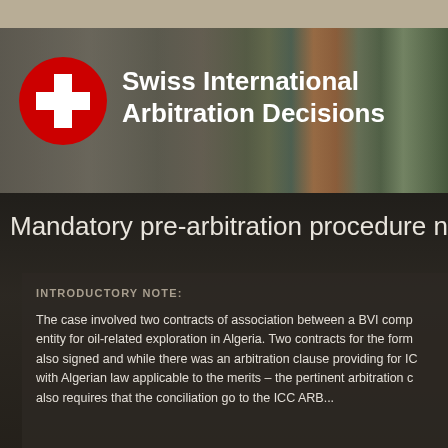[Figure (screenshot): Swiss International Arbitration Decisions website header banner with Swiss cross logo on red circle and blurred library bookshelf background]
Mandatory pre-arbitration procedure not c
INTRODUCTORY NOTE:
The case involved two contracts of association between a BVI comp entity for oil-related exploration in Algeria. Two contracts for the forn also signed and while there was an arbitration clause providing for IC with Algerian law applicable to the merits – the pertinent arbitration c also requires that the conciliation go to the ICC ARB...